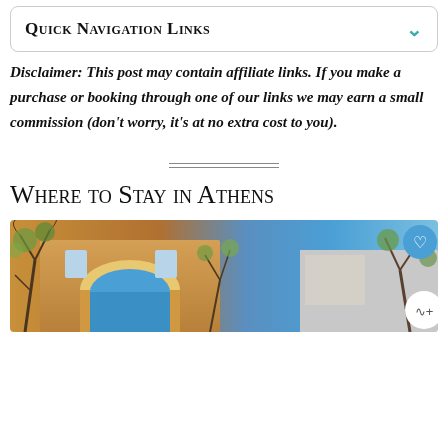Quick Navigation Links
Disclaimer: This post may contain affiliate links. If you make a purchase or booking through one of our links we may earn a small commission (don't worry, it's at no extra cost to you).
Where to Stay in Athens
[Figure (photo): Photo of a building with arched architecture, climbing vines and trees, blue sky visible. Athens hotel or guesthouse exterior.]